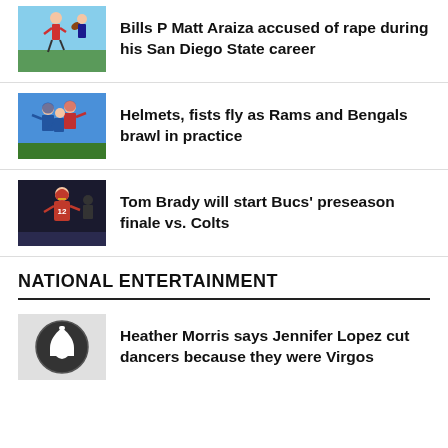[Figure (photo): Football kicker on field during game]
Bills P Matt Araiza accused of rape during his San Diego State career
[Figure (photo): Football players brawling on practice field, Rams and Bengals]
Helmets, fists fly as Rams and Bengals brawl in practice
[Figure (photo): Tom Brady in Buccaneers uniform]
Tom Brady will start Bucs' preseason finale vs. Colts
NATIONAL ENTERTAINMENT
[Figure (illustration): Bell notification icon]
Heather Morris says Jennifer Lopez cut dancers because they were Virgos